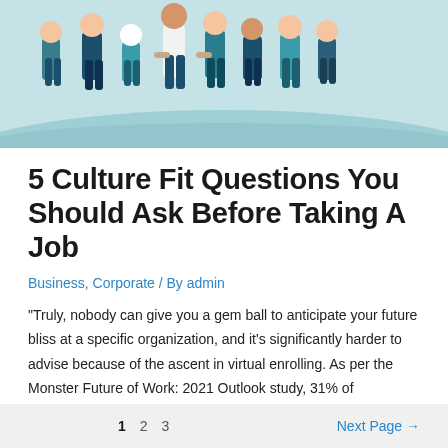[Figure (illustration): Illustration of a group of diverse people standing together, depicted in teal and navy flat design style against a light teal background.]
5 Culture Fit Questions You Should Ask Before Taking A Job
Business, Corporate / By admin
“Truly, nobody can give you a gem ball to anticipate your future bliss at a specific organization, and it’s significantly harder to advise because of the ascent in virtual enrolling. As per the Monster Future of Work: 2021 Outlook study, 31% of organizations have a selecting cycle that is half virtual.”
1  2  3  Next Page →